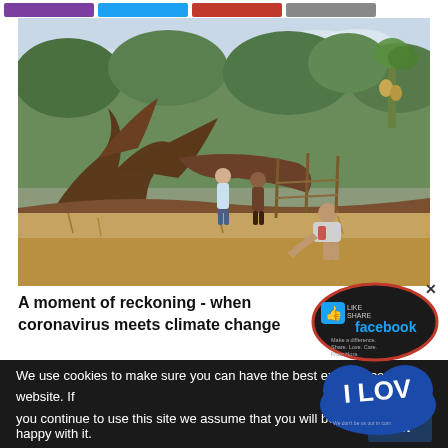Social share buttons bar
[Figure (photo): Three people among fallen trees and tropical vegetation. A large uprooted tree with exposed roots dominates the left side. Two people stand in the background amid logs and greenery, while a third person sits crouching in the foreground on dry grass.]
A moment of reckoning - when coronavirus meets climate change
Cyclones in the Pacific and pandemics tell us a lot about inequality and highlight our futile pursuit of profit…
In the midst of economic shocks and border closures caused by the coronavirus pandemic, the Pacific region…
[Figure (infographic): Facebook social media promotional overlay with a dark speech bubble showing a thumbs up icon and 'facebook' text with tagline 'Make a difference. Share. Love. Care. From Hora.' and a blue heart shape with 'I LOU' text and small text 'We don't be us our in com'. A close X button in top right.]
We use cookies to make sure you can have the best experience on our website. If you continue to use this site we assume that you will be happy with it.